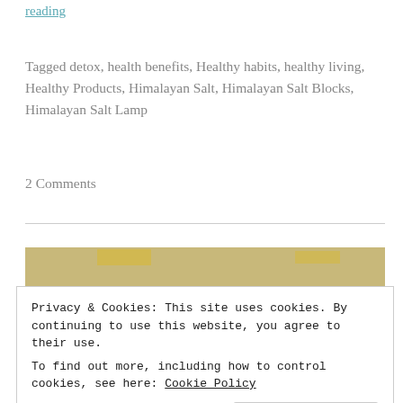reading
Tagged detox, health benefits, Healthy habits, healthy living, Healthy Products, Himalayan Salt, Himalayan Salt Blocks, Himalayan Salt Lamp
2 Comments
[Figure (photo): Person performing a backbend yoga pose on a sandy beach]
Privacy & Cookies: This site uses cookies. By continuing to use this website, you agree to their use.
To find out more, including how to control cookies, see here: Cookie Policy
Close and accept